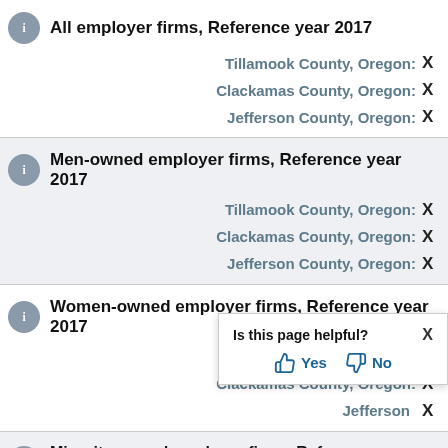All employer firms, Reference year 2017
Tillamook County, Oregon: X
Clackamas County, Oregon: X
Jefferson County, Oregon: X
Men-owned employer firms, Reference year 2017
Tillamook County, Oregon: X
Clackamas County, Oregon: X
Jefferson County, Oregon: X
Women-owned employer firms, Reference year 2017
Tillamook County, Oregon: X
Clackamas County, Oregon: X
Jefferson County, Oregon: X
Minority-owned employer firms, Reference year 2017
Is this page helpful? Yes No